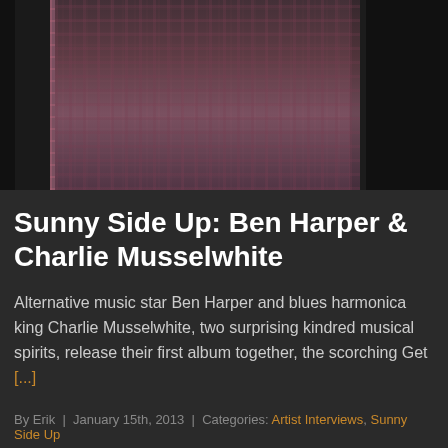[Figure (photo): Two people, one wearing a plaid/checkered shirt, dark background, partial torso shots]
Sunny Side Up: Ben Harper & Charlie Musselwhite
Alternative music star Ben Harper and blues harmonica king Charlie Musselwhite, two surprising kindred musical spirits, release their first album together, the scorching Get [...]
By Erik | January 15th, 2013 | Categories: Artist Interviews, Sunny Side Up
Read More >